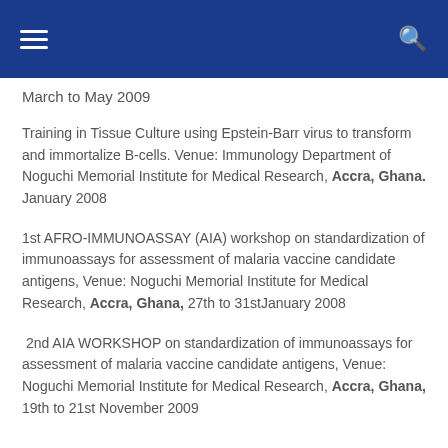Navigation bar with hamburger menu and search icon
March to May 2009
Training in Tissue Culture using Epstein-Barr virus to transform and immortalize B-cells. Venue: Immunology Department of Noguchi Memorial Institute for Medical Research, Accra, Ghana. January 2008
1st AFRO-IMMUNOASSAY (AIA) workshop on standardization of immunoassays for assessment of malaria vaccine candidate antigens, Venue: Noguchi Memorial Institute for Medical Research, Accra, Ghana, 27th to 31st January 2008
2nd AIA WORKSHOP on standardization of immunoassays for assessment of malaria vaccine candidate antigens, Venue: Noguchi Memorial Institute for Medical Research, Accra, Ghana, 19th to 21st November 2009